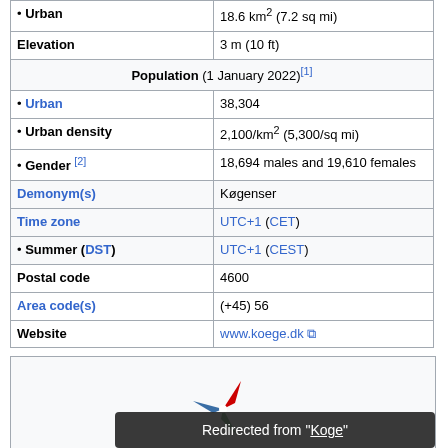| • Urban | 18.6 km² (7.2 sq mi) |
| Elevation | 3 m (10 ft) |
| Population (1 January 2022)[1] |  |
| • Urban | 38,304 |
| • Urban density | 2,100/km² (5,300/sq mi) |
| • Gender [2] | 18,694 males and 19,610 females |
| Demonym(s) | Køgenser |
| Time zone | UTC+1 (CET) |
| • Summer (DST) | UTC+1 (CEST) |
| Postal code | 4600 |
| Area code(s) | (+45) 56 |
| Website | www.koege.dk |
[Figure (logo): Wikivoyage logo - compass rose with red, blue, green arrows]
Wi...
Redirected from "Koge"
The natural harbour and strategic location have given
Køge a long history as a market town. Today, the town is